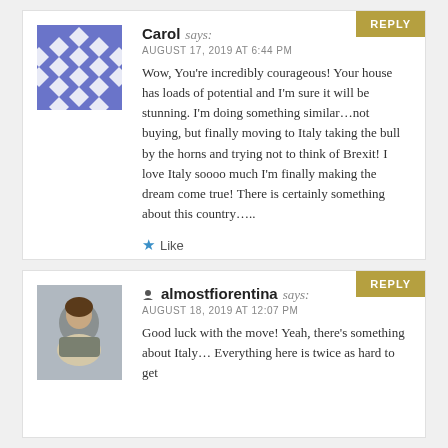Carol says: AUGUST 17, 2019 AT 6:44 PM
Wow, You're incredibly courageous! Your house has loads of potential and I'm sure it will be stunning. I'm doing something similar…not buying, but finally moving to Italy taking the bull by the horns and trying not to think of Brexit! I love Italy soooo much I'm finally making the dream come true! There is certainly something about this country…..
almostfiorentina says: AUGUST 18, 2019 AT 12:07 PM
Good luck with the move! Yeah, there's something about Italy… Everything here is twice as hard to get